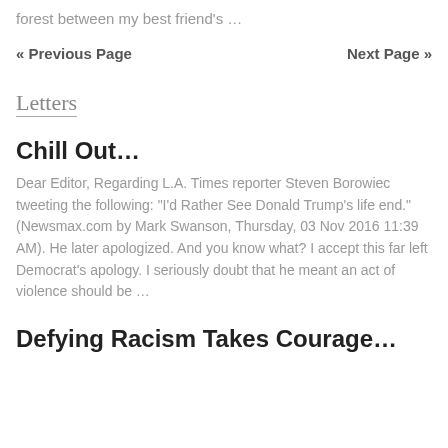forest between my best friend's …
« Previous Page    Next Page »
Letters
Chill Out…
Dear Editor, Regarding L.A. Times reporter Steven Borowiec tweeting the following: "I'd Rather See Donald Trump's life end." (Newsmax.com by Mark Swanson, Thursday, 03 Nov 2016 11:39 AM). He later apologized. And you know what? I accept this far left Democrat's apology. I seriously doubt that he meant an act of violence should be …
Defying Racism Takes Courage…